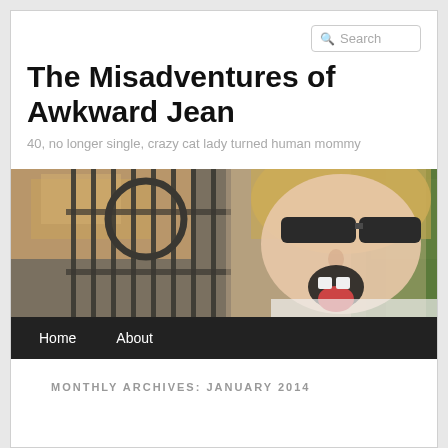Search
The Misadventures of Awkward Jean
40, no longer single, crazy cat lady turned human mommy
[Figure (photo): A woman with blonde hair and dark sunglasses making a funny face with her tongue out, standing in front of a metal fence with autumn leaves and greenery in the background.]
Home   About
MONTHLY ARCHIVES: JANUARY 2014